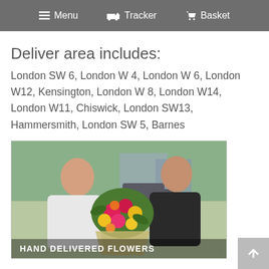≡ Menu  🚚 Tracker  🛒 Basket
Deliver area includes:
London SW 6, London W 4, London W 6, London W12, Kensington, London W 8, London W14, London W11, Chiswick, London SW13, Hammersmith, London SW 5, Barnes
[Figure (photo): A flower delivery person in a dark uniform handing a colorful bouquet of red, yellow, pink and orange flowers to a woman in a white top outdoors. Text overlay reads HAND DELIVERED FLOWERS.]